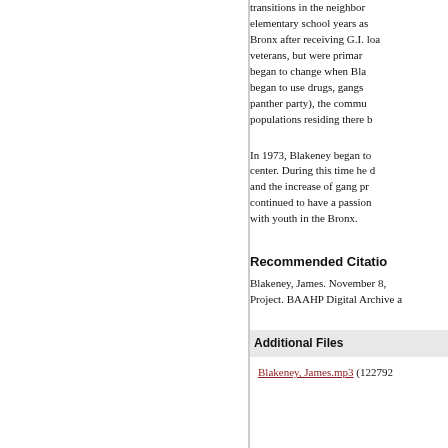transitions in the neighborhood during his elementary school years as he grew up in the Bronx after receiving G.I. loans for veterans, but were primarily Black. Things began to change when Blakeney said people began to use drugs, gangs (Black panther party), the community and populations residing there began to change.
In 1973, Blakeney began to work at a center. During this time he discussed drugs and the increase of gang problems, but continued to have a passion for working with youth in the Bronx.
Recommended Citation
Blakeney, James. November 8, ... Project. BAAHP Digital Archive a...
Additional Files
Blakeney, James.mp3 (122792 ...